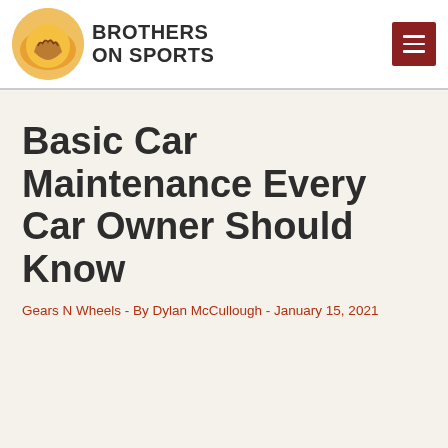BROTHERS ON SPORTS
Basic Car Maintenance Every Car Owner Should Know
Gears N Wheels - By Dylan McCullough - January 15, 2021